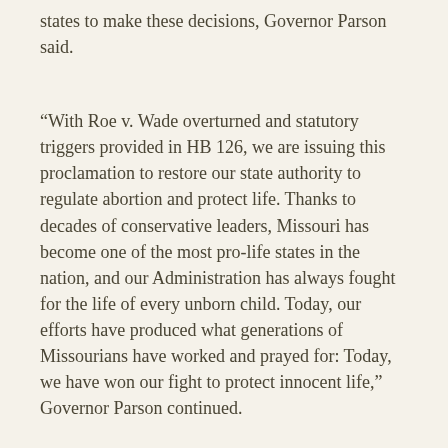states to make these decisions, Governor Parson said.
“With Roe v. Wade overturned and statutory triggers provided in HB 126, we are issuing this proclamation to restore our state authority to regulate abortion and protect life. Thanks to decades of conservative leaders, Missouri has become one of the most pro-life states in the nation, and our Administration has always fought for the life of every unborn child. Today, our efforts have produced what generations of Missourians have worked and prayed for: Today, we have won our fight to protect innocent life,” Governor Parson continued.
Governor Parson’s proclamation notifies the Missouri Revisor of